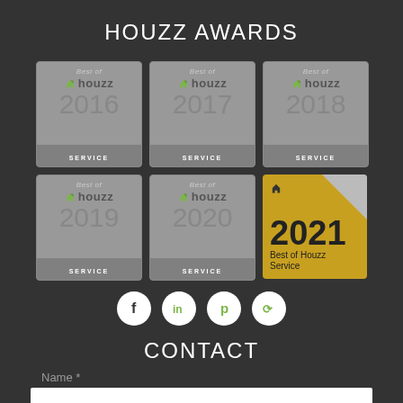HOUZZ AWARDS
[Figure (logo): Six Best of Houzz award badges: 2016, 2017, 2018, 2019, 2020 Service badges in grey, and 2021 Best of Houzz Service badge in gold]
[Figure (infographic): Social media icons: Facebook, LinkedIn, Pinterest, and Houzz circular buttons]
CONTACT
Name *